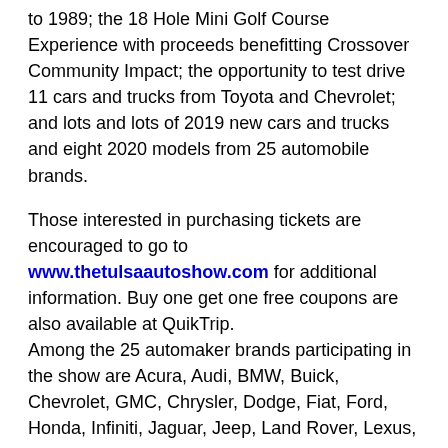to 1989; the 18 Hole Mini Golf Course Experience with proceeds benefitting Crossover Community Impact; the opportunity to test drive 11 cars and trucks from Toyota and Chevrolet; and lots and lots of 2019 new cars and trucks and eight 2020 models from 25 automobile brands.
Those interested in purchasing tickets are encouraged to go to www.thetulsaautoshow.com for additional information. Buy one get one free coupons are also available at QuikTrip.
Among the 25 automaker brands participating in the show are Acura, Audi, BMW, Buick, Chevrolet, GMC, Chrysler, Dodge, Fiat, Ford, Honda, Infiniti, Jaguar, Jeep, Land Rover, Lexus, Lincoln, Mercedes-Benz, Nissan, Porsche, Ram, Subaru, Toyota, Volkswagen and Volvo.
The Tulsa Auto Show is sponsored by the Tulsa Automobile Dealers Association. The Tulsa World is the print partner.
The Tulsa Automobile Dealers Association is a non-profit organization that exists to serve and promote the